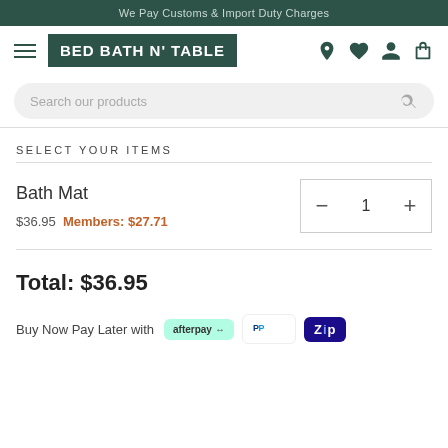We Pay Customs & Import Duty Charges
[Figure (logo): Bed Bath N' Table logo with hamburger menu and nav icons (location, heart, user, bag)]
[Figure (screenshot): Search bar with placeholder text 'Search our products' and a search icon]
SELECT YOUR ITEMS
Bath Mat
$36.95  Members: $27.71
Total: $36.95
Buy Now Pay Later with
[Figure (logo): Afterpay, PayPal, and Zip payment method logos]